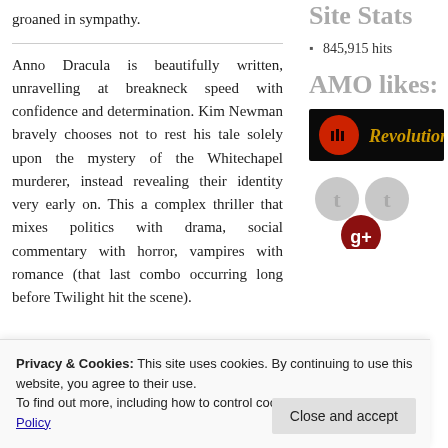groaned in sympathy.
Anno Dracula is beautifully written, unravelling at breakneck speed with confidence and determination. Kim Newman bravely chooses not to rest his tale solely upon the mystery of the Whitechapel murderer, instead revealing their identity very early on. This a complex thriller that mixes politics with drama, social commentary with horror, vampires with romance (that last combo occurring long before Twilight hit the scene).
Site Stats
845,915 hits
AMO likes:
[Figure (logo): Revolution logo — dark background with red moon and gold script text]
[Figure (logo): Social media icon circles — two grey 't' circles and one red 'g+' circle]
Privacy & Cookies: This site uses cookies. By continuing to use this website, you agree to their use.
To find out more, including how to control cookies, see here: Cookie Policy
Close and accept